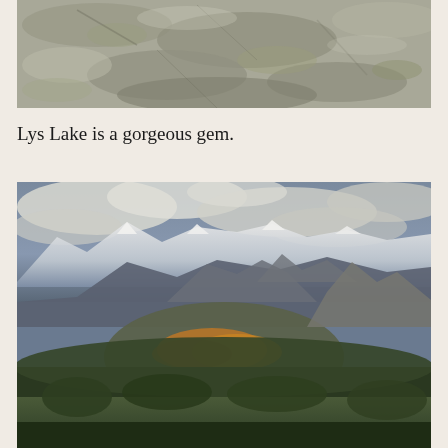[Figure (photo): Close-up photograph of rocky granite boulders with lichen, appearing to be a mountain or alpine rock surface]
Lys Lake is a gorgeous gem.
[Figure (photo): Aerial or high-elevation photograph of a mountain landscape with snow-capped peaks in the background, forested hillsides with autumn colors of orange and yellow, and dramatic cloudy sky]